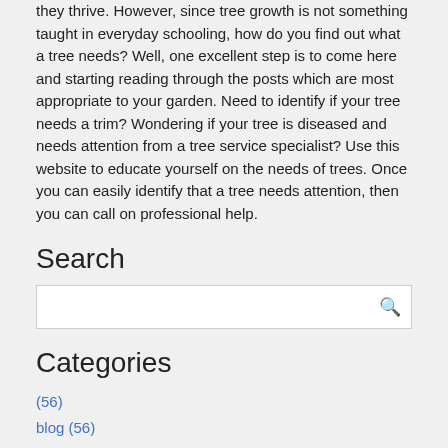they thrive. However, since tree growth is not something taught in everyday schooling, how do you find out what a tree needs? Well, one excellent step is to come here and starting reading through the posts which are most appropriate to your garden. Need to identify if your tree needs a trim? Wondering if your tree is diseased and needs attention from a tree service specialist? Use this website to educate yourself on the needs of trees. Once you can easily identify that a tree needs attention, then you can call on professional help.
Search
Categories
(56)
blog (56)
Latest Posts
How A Tree Removal Company Might Get Rid Of Young Trees, Mature Trees, And Stumps In Your